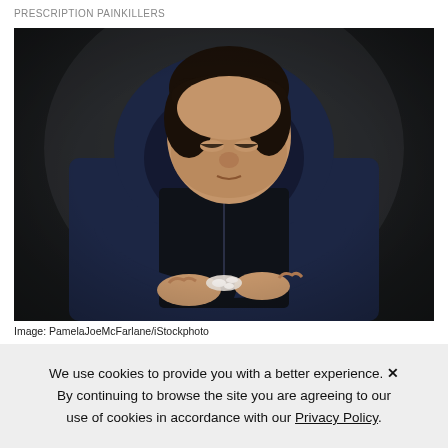PRESCRIPTION PAINKILLERS
[Figure (photo): A young man in a dark navy hoodie sits hunched forward looking down at pills in his open hands, against a dark background.]
Image: PamelaJoeMcFarlane/iStockphoto
We use cookies to provide you with a better experience. By continuing to browse the site you are agreeing to our use of cookies in accordance with our Privacy Policy.